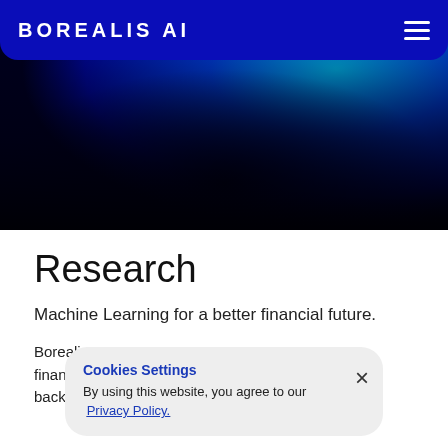BOREALIS AI
[Figure (illustration): Hero banner with dark blue to cyan gradient background]
Research
Machine Learning for a better financial future.
Borealis AI combines the brightest minds in financial services and academic backgrounds across artificial intelligence including
Cookies Settings
By using this website, you agree to our Privacy Policy.